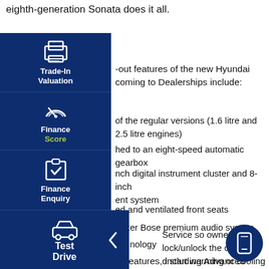eighth-generation Sonata does it all.
-out features of the new Hyundai coming to Dealerships include:
of the regular versions (1.6 litre and 2.5 litre engines)
hed to an eight-speed automatic gearbox
nch digital instrument cluster and 8-inch ent system
ed and ventilated front seats
eaker Bose premium audio system
echnology
Service so owners can lock/unlock the door d start warming or cooling the interior
Even more driver assistance features, including Advanced Smart Cruise Control and Remote Smart Parking Assistant
[Figure (screenshot): Navigation sidebar with Trade-In Valuation, Finance Score, Finance Enquiry, and Test Drive buttons, plus a floating phone icon button]